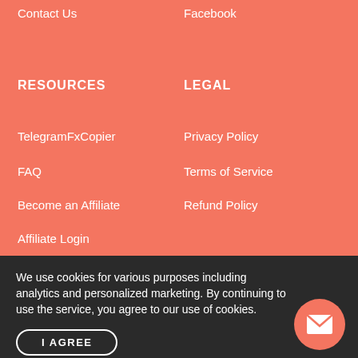Contact Us
Facebook
RESOURCES
LEGAL
TelegramFxCopier
Privacy Policy
FAQ
Terms of Service
Become an Affiliate
Refund Policy
Affiliate Login
We use cookies for various purposes including analytics and personalized marketing. By continuing to use the service, you agree to our use of cookies.
I AGREE